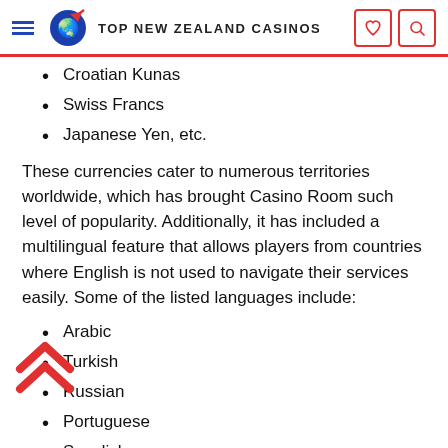TOP NEW ZEALAND CASINOS
Croatian Kunas
Swiss Francs
Japanese Yen, etc.
These currencies cater to numerous territories worldwide, which has brought Casino Room such level of popularity. Additionally, it has included a multilingual feature that allows players from countries where English is not used to navigate their services easily. Some of the listed languages include:
Arabic
Turkish
Russian
Portuguese
Swedish
Polish